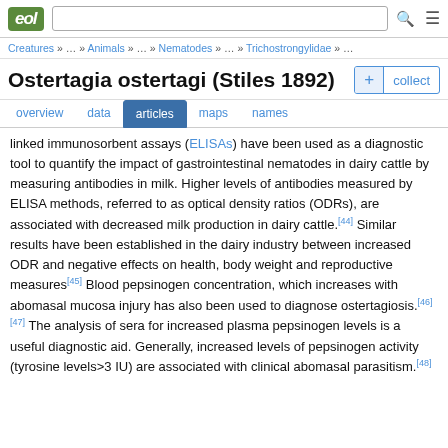eol | [search bar] | [menu icon]
Creatures » … » Animals » … » Nematodes » … » Trichostrongylidae » …
Ostertagia ostertagi (Stiles 1892)
overview   data   articles   maps   names
linked immunosorbent assays (ELISAs) have been used as a diagnostic tool to quantify the impact of gastrointestinal nematodes in dairy cattle by measuring antibodies in milk. Higher levels of antibodies measured by ELISA methods, referred to as optical density ratios (ODRs), are associated with decreased milk production in dairy cattle.[44] Similar results have been established in the dairy industry between increased ODR and negative effects on health, body weight and reproductive measures[45] Blood pepsinogen concentration, which increases with abomasal mucosa injury has also been used to diagnose ostertagiosis.[46][47] The analysis of sera for increased plasma pepsinogen levels is a useful diagnostic aid. Generally, increased levels of pepsinogen activity (tyrosine levels>3 IU) are associated with clinical abomasal parasitism.[48]